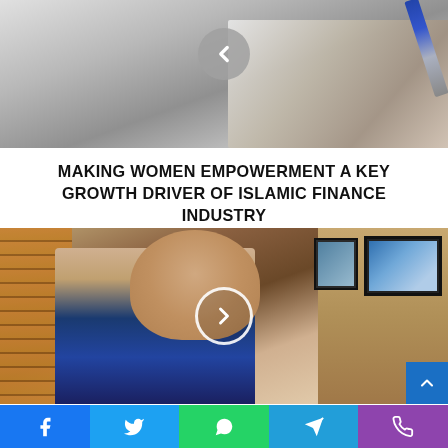[Figure (photo): Top background image showing a hand holding a pencil over a document, with a grey back navigation button overlay]
MAKING WOMEN EMPOWERMENT A KEY GROWTH DRIVER OF ISLAMIC FINANCE INDUSTRY
[Figure (photo): Video thumbnail showing a man in a blue suit and tie sitting in an office with wooden wall slats and framed photos on a shelf behind him; a circular play button is overlaid in the center]
DR. AHAMED AHMAD, SHARIYA ACADEMY...
Facebook  Twitter  WhatsApp  Telegram  Phone social sharing bar